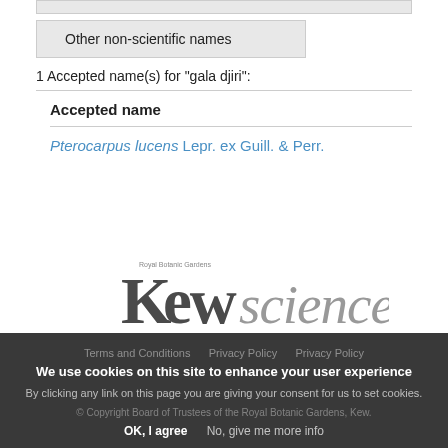| Other non-scientific names |
| --- |
1 Accepted name(s) for "gala djiri":
Accepted name
Pterocarpus lucens Lepr. ex Guill. & Perr.
[Figure (logo): Kew Science logo - Royal Botanic Gardens Kew Science wordmark]
We use cookies on this site to enhance your user experience
By clicking any link on this page you are giving your consent for us to set cookies.
OK, I agree   No, give me more info
Terms and Conditions   Privacy Policy
© Copyright Board of Trustees of the Royal Botanic Gardens, Kew.